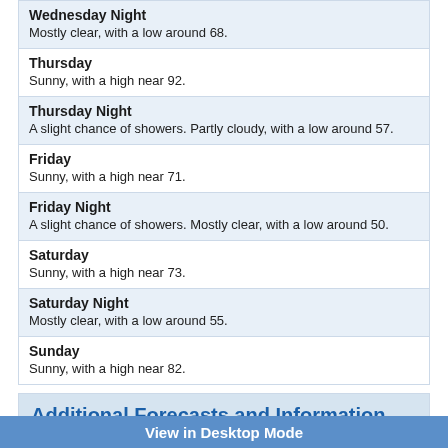Wednesday Night
Mostly clear, with a low around 68.
Thursday
Sunny, with a high near 92.
Thursday Night
A slight chance of showers. Partly cloudy, with a low around 57.
Friday
Sunny, with a high near 71.
Friday Night
A slight chance of showers. Mostly clear, with a low around 50.
Saturday
Sunny, with a high near 73.
Saturday Night
Mostly clear, with a low around 55.
Sunday
Sunny, with a high near 82.
Additional Forecasts and Information
ZONE AREA FORECAST FOR CENTRAL BLACK HILLS, SD
Forecast Discussion
View in Desktop Mode